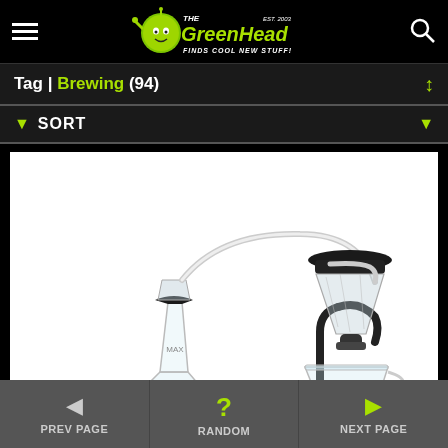The Green Head - Finds Cool New Stuff!
Tag | Brewing (94)
▼ SORT ▼
[Figure (photo): Coffee pour-over brewing apparatus with glass components, metal stand, funnel filter, glass carafe and cup on a wooden tray]
◄ PREV PAGE   ? RANDOM   ► NEXT PAGE